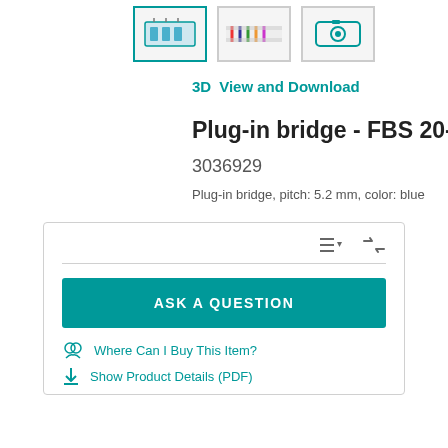[Figure (screenshot): Three product thumbnail images: a blue plug-in bridge drawing (active/selected), a colorful wire connector photo, and a camera icon placeholder]
3D   View and Download
Plug-in bridge - FBS 20-5 BU
3036929
Plug-in bridge, pitch: 5.2 mm, color: blue
[Figure (screenshot): Product card UI with toolbar icons (list and compare), a horizontal divider, an 'ASK A QUESTION' teal button, and two teal links: 'Where Can I Buy This Item?' and 'Show Product Details (PDF)']